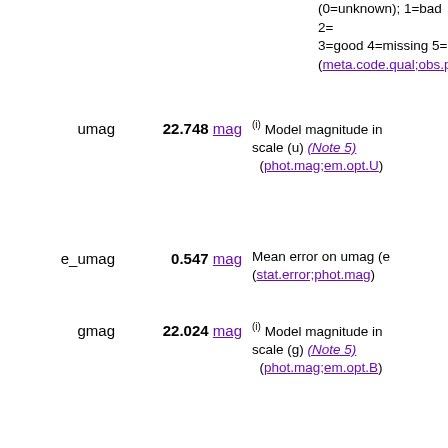(0=unknown); 1=bad 2=... 3=good 4=missing 5=... (meta.code.qual;obs.p...)
umag | 22.748 mag | (i) Model magnitude in scale (u) (Note 5) (phot.mag;em.opt.U)
e_umag | 0.547 mag | Mean error on umag (e) (stat.error;phot.mag)
gmag | 22.024 mag | (i) Model magnitude in scale (g) (Note 5) (phot.mag;em.opt.B)
e_gmag | 0.130 mag | Mean error on gmag (e) (stat.error;phot.mag)
rmag | 21.607 mag | (i) Model magnitude in scale (r) (Note 5) (phot.mag;em.opt.R)
e_rmag | 0.131 mag | Mean error on rmag (e) (stat.error;phot.mag)
imag | 21.291 mag | (i) Model magnitude in scale (i) (Note 5) (phot.mag;em.opt.I)
e_imag | 0.148 mag | Mean error on imag (e) (stat.error;phot.mag)